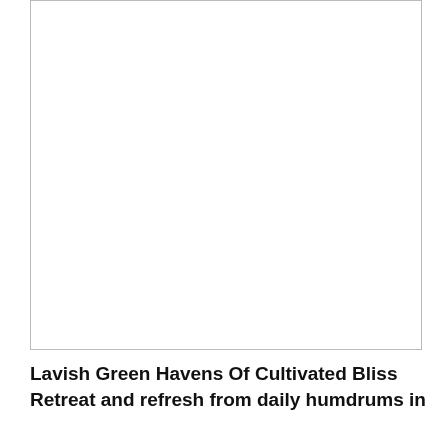[Figure (photo): Large white/blank image placeholder with a thin border rectangle occupying the upper portion of the page.]
Lavish Green Havens Of Cultivated Bliss
Retreat and refresh from daily humdrums in